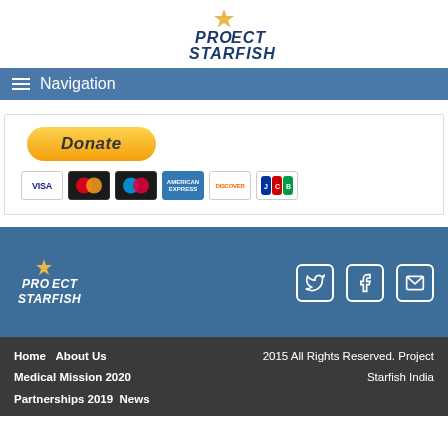PROJECT STARFISH
[Figure (logo): Project Starfish logo with star icon and text in dark blue italic letters]
Navigation
[Figure (screenshot): PayPal Donate button with payment method icons: Visa, Mastercard, Maestro, American Express, Discover, JCB]
[Figure (logo): Project Starfish white logo in footer with star icon]
[Figure (infographic): Social media icons: Twitter, Facebook, Email]
Home  About Us  Medical Mission 2020  Partnerships 2019  News  2015 All Rights Reserved. Project Starfish India